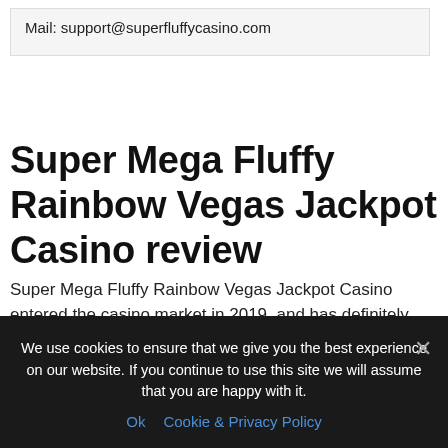Mail: support@superfluffycasino.com
Super Mega Fluffy Rainbow Vegas Jackpot Casino review
Super Mega Fluffy Rainbow Vegas Jackpot Casino entered the casino market in 2019, and has definitely made a name for itself. Super Mega Fluffy Rainbow Vegas Jackpot Casino website has a incredible and mobile friendly design with a exceptional selection of casino games. There are more than 800+ titles on the site from top game developers. The only casino is available in English.
We use cookies to ensure that we give you the best experience on our website. If you continue to use this site we will assume that you are happy with it.
Ok   Cookie & Privacy Policy